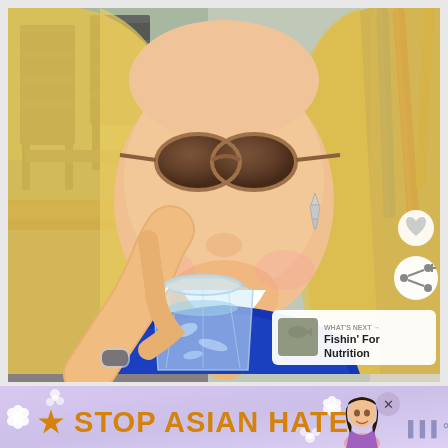[Figure (photo): A smiling blonde woman wearing brown/tortoiseshell sunglasses and a blue sleeveless top holds a crystal glass of water. She appears to be on an outdoor patio. In the background on the left are dark metal patio chairs and a wooden railing. On the right are colorful striped straws. A heart icon and share icon overlay appear on the right edge. A 'What's Next' panel shows a thumbnail and text 'Fishin' For Nutrition'.]
WHAT'S NEXT → Fishin' For Nutrition
[Figure (illustration): Advertisement banner with purple/lavender background, white flower decorations, bold orange text reading 'STOP ASIAN HATE', a cartoon Asian woman figure, a close (X) button, and a logo on the right.]